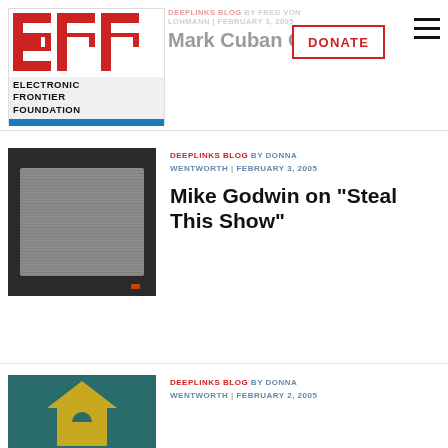[Figure (logo): EFF (Electronic Frontier Foundation) logo with red EFF letters and blue bar]
DEEPLINKS BLOG BY FRED VON LOHMANN | FEBRUARY 3, 2005
Mark Cuban Gets It
[Figure (other): Donate button with red border]
[Figure (other): Hamburger menu icon]
[Figure (photo): Old CRT television with static screen]
DEEPLINKS BLOG BY DONNA WENTWORTH | FEBRUARY 3, 2005
Mike Godwin on "Steal This Show"
[Figure (illustration): Teal/dark background with house/home icon in yellow]
DEEPLINKS BLOG BY DONNA WENTWORTH | FEBRUARY 2, 2005